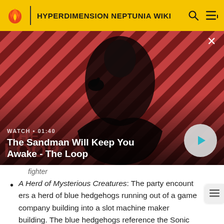HYPERDIMENSION NEPTUNIA WIKI
[Figure (screenshot): Video thumbnail for 'The Sandman Will Keep You Awake - The Loop' showing a dark figure with a raven on a red and black diagonal striped background. Shows WATCH • 01:40 label and a play button.]
fighter
A Herd of Mysterious Creatures: The party encounters a herd of blue hedgehogs running out of a game company building into a slot machine maker building. The blue hedgehogs reference the Sonic the Hedgehog series with the slot machine being a nod to